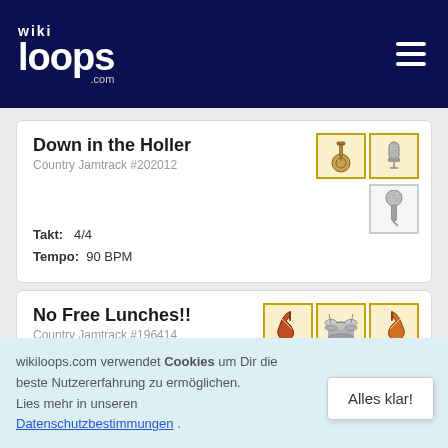[Figure (logo): wikiloops.com logo - white text on dark navy background with hamburger menu icon]
Down in the Holler
Country Jamtrack #202012
[Figure (illustration): Two instrument icons: acoustic guitar and microphone in gold-bordered boxes; microphone in grey-bordered box below]
Takt: 4/4
Tempo: 90 BPM
No Free Lunches!!
Country Jamtrack #196414
[Figure (illustration): Three instrument icons: electric guitar, drums, bass guitar in gold-bordered boxes; HD badge in grey-bordered box below]
wikiloops.com verwendet Cookies um Dir die beste Nutzererfahrung zu ermöglichen.
Lies mehr in unseren Datenschutzbestimmungen .